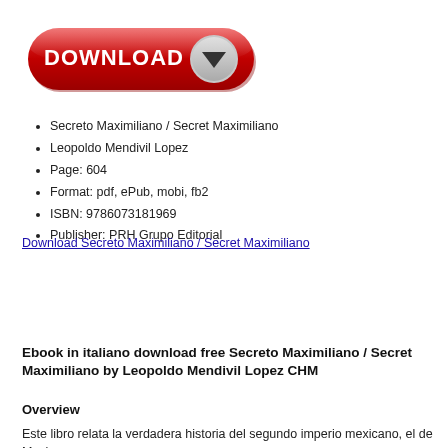[Figure (other): Red download button with white DOWNLOAD text and a downward arrow icon on the right side]
Secreto Maximiliano / Secret Maximiliano
Leopoldo Mendivil Lopez
Page: 604
Format: pdf, ePub, mobi, fb2
ISBN: 9786073181969
Publisher: PRH Grupo Editorial
Download Secreto Maximiliano / Secret Maximiliano
Ebook in italiano download free Secreto Maximiliano / Secret Maximiliano by Leopoldo Mendivil Lopez CHM
Overview
Este libro relata la verdadera historia del segundo imperio mexicano, el de Maxi